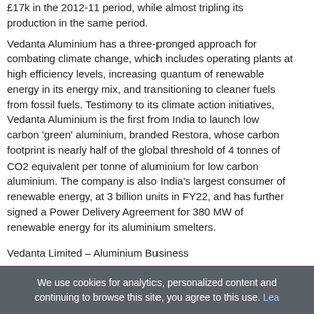£17k in the 2012-11 period, while almost tripling its production in the same period.
Vedanta Aluminium has a three-pronged approach for combating climate change, which includes operating plants at high efficiency levels, increasing quantum of renewable energy in its energy mix, and transitioning to cleaner fuels from fossil fuels. Testimony to its climate action initiatives, Vedanta Aluminium is the first from India to launch low carbon 'green' aluminium, branded Restora, whose carbon footprint is nearly half of the global threshold of 4 tonnes of CO2 equivalent per tonne of aluminium for low carbon aluminium. The company is also India's largest consumer of renewable energy, at 3 billion units in FY22, and has further signed a Power Delivery Agreement for 380 MW of renewable energy for its aluminium smelters.
Vedanta Limited – Aluminium Business
Vedanta Limited – Aluminium Business
+91 1142262400
email us here
Visit us on social media:
Facebook
Twitter
We use cookies for analytics, personalized content and continuing to browse this site, you agree to this use. Lea